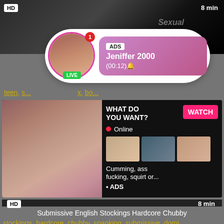[Figure (screenshot): Top video thumbnail with HD badge and 8 min duration, dark background with sexual watermark]
[Figure (screenshot): Notification popup overlay showing ADS label, Jeniffer 2000 profile with LIVE badge, avatar with pink circle border, (00:12) timer]
teen, s..., ...x, bo...
[Figure (screenshot): Advertisement card showing woman with WHAT DO YOU WANT? text, WATCH button, Online indicator, thumbnail images, Cumming, ass fucking, squirt or... text and ADS label]
HD
8 min
Submissive English Stockings Hardcore Chubby
stockings, hardcore, chubby, spanking, submissive, domi...
[Figure (photo): Bottom video thumbnail partial showing person]